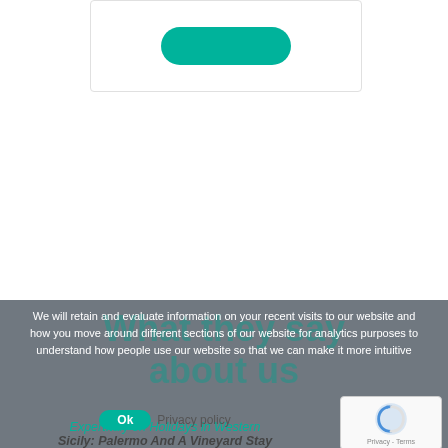[Figure (screenshot): White card area with a teal rounded-rectangle button, partially visible at the top of the page]
We will retain and evaluate information on your recent visits to our website and how you move around different sections of our website for analytics purposes to understand how people use our website so that we can make it more intuitive
What they say about us
ExpertItaly on Holidays in Western Sicily: Palermo And A Vineyard Stay